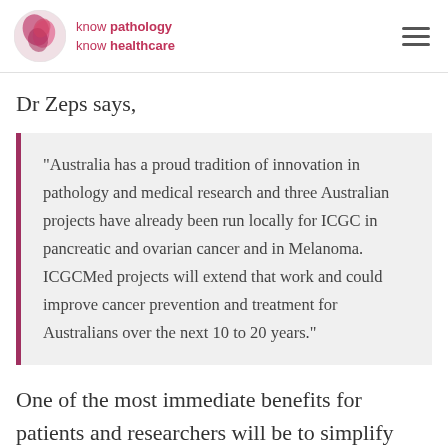know pathology know healthcare
Dr Zeps says,
“Australia has a proud tradition of innovation in pathology and medical research and three Australian projects have already been run locally for ICGC in pancreatic and ovarian cancer and in Melanoma. ICGCMed projects will extend that work and could improve cancer prevention and treatment for Australians over the next 10 to 20 years.”
One of the most immediate benefits for patients and researchers will be to simplify